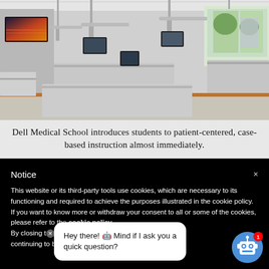[Figure (photo): Interior of a modern medical school laboratory with rows of stainless steel tables, monitor arms, computer screens, and overhead lighting. A large display screen is mounted on the left wall. The room has an orange accent strip along the floor.]
Dell Medical School introduces students to patient-centered, case-based instruction almost immediately.
Notice

This website or its third-party tools use cookies, which are necessary to its functioning and required to achieve the purposes illustrated in the cookie policy. If you want to know more or withdraw your consent to all or some of the cookies, please refer to the cookie policy.
By closing t[x]b... k or continuing to bro... co...
Hey there! 🤖 Mind if I ask you a quick question?